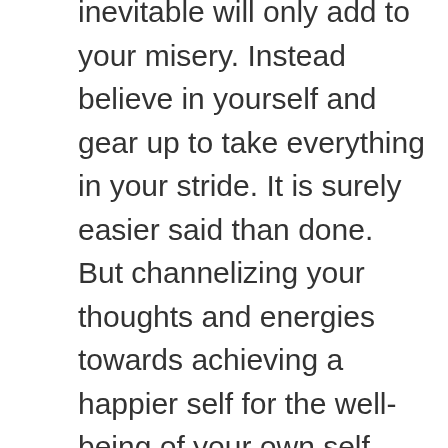inevitable will only add to your misery. Instead believe in yourself and gear up to take everything in your stride. It is surely easier said than done. But channelizing your thoughts and energies towards achieving a happier self for the well-being of your own self and family is totally worth the effort. So, kick-start this time with a new-found liveliness and realize a harmonious and brighter tomorrow. Brace yourself to take the onus of all the responsibilities, tasks and activities at hand and strengthen the self-belief to carry them out efficiently. Remind once again to yourself; it's your family, you are accountable for their welfare and you will do your best to keep things going in the best possible way as you have always been doing. Find bliss in this freedom of decision-making and act responsibly.